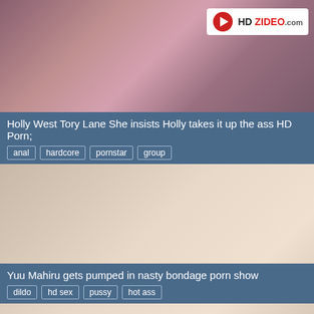[Figure (screenshot): Video thumbnail showing adult content with HDZIDEO.com watermark]
Holly West Tory Lane She insists Holly takes it up the ass HD Porn;
anal
hardcore
pornstar
group
[Figure (screenshot): Video thumbnail showing adult content]
Click OK to Continue
OK
Yuu Mahiru gets pumped in nasty bondage porn show
dildo
hd sex
pussy
hot ass